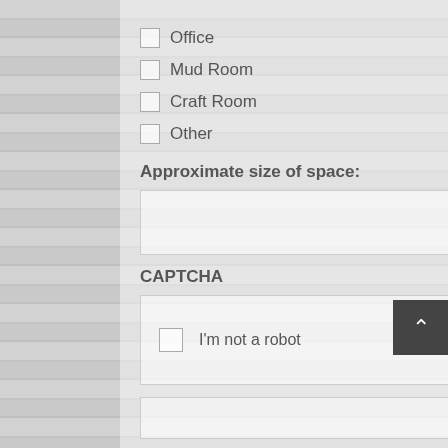Office
Mud Room
Craft Room
Other
Approximate size of space:
[text input field]
CAPTCHA
[Figure (screenshot): reCAPTCHA widget with checkbox labeled I'm not a robot and reCAPTCHA logo with Privacy and Terms links]
Submit